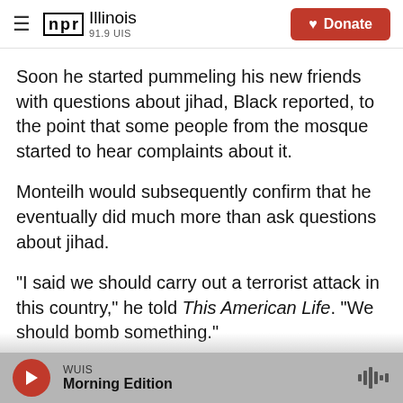NPR Illinois 91.9 UIS | Donate
Soon he started pummeling his new friends with questions about jihad, Black reported, to the point that some people from the mosque started to hear complaints about it.
Monteilh would subsequently confirm that he eventually did much more than ask questions about jihad.
"I said we should carry out a terrorist attack in this country," he told This American Life. "We should bomb something."
WUIS Morning Edition